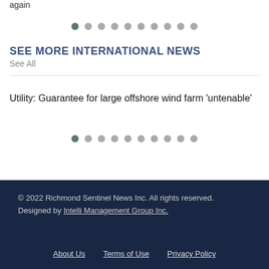again
• • • • • • • • • •
SEE MORE INTERNATIONAL NEWS
See All
Utility: Guarantee for large offshore wind farm 'untenable'
• • • • • • • • • •
© 2022 Richmond Sentinel News Inc. All rights reserved. Designed by Intelli Management Group Inc.
About Us   Terms of Use   Privacy Policy